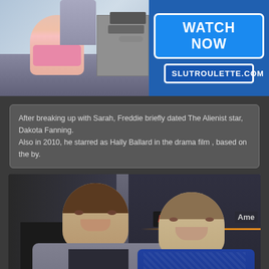[Figure (photo): Advertisement banner with image on left and 'WATCH NOW / SLUTROULETTE.COM' on right blue panel]
After breaking up with Sarah, Freddie briefly dated The Alienist star, Dakota Fanning.
Also in 2010, he starred as Hally Ballard in the drama film , based on the by.
[Figure (photo): Photo of two young people smiling at a Hooters event, with HOOTERS sign visible in background]
[Figure (photo): Partial bottom strip/image]